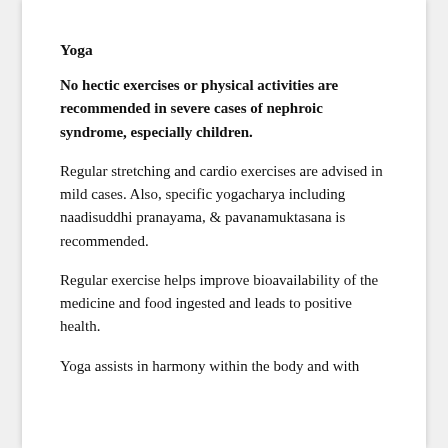Yoga
No hectic exercises or physical activities are recommended in severe cases of nephroic syndrome, especially children.
Regular stretching and cardio exercises are advised in mild cases. Also, specific yogacharya including naadisuddhi pranayama, & pavanamuktasana is recommended.
Regular exercise helps improve bioavailability of the medicine and food ingested and leads to positive health.
Yoga assists in harmony within the body and with...